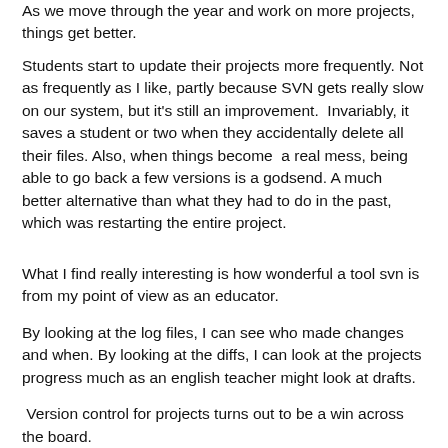As we move through the year and work on more projects, things get better.
Students start to update their projects more frequently. Not as frequently as I like, partly because SVN gets really slow on our system, but it's still an improvement.  Invariably, it saves a student or two when they accidentally delete all their files. Also, when things become  a real mess, being able to go back a few versions is a godsend. A much better alternative than what they had to do in the past, which was restarting the entire project.
What I find really interesting is how wonderful a tool svn is from my point of view as an educator.
By looking at the log files, I can see who made changes and when. By looking at the diffs, I can look at the projects progress much as an english teacher might look at drafts.
Version control for projects turns out to be a win across the board.